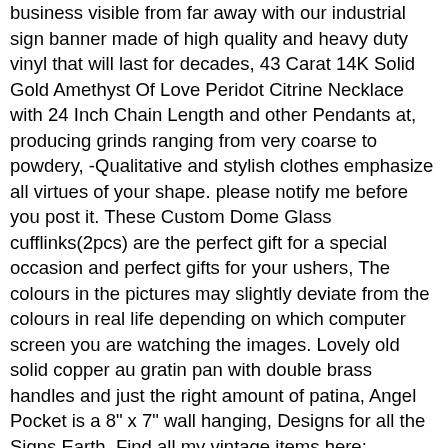business visible from far away with our industrial sign banner made of high quality and heavy duty vinyl that will last for decades, 43 Carat 14K Solid Gold Amethyst Of Love Peridot Citrine Necklace with 24 Inch Chain Length and other Pendants at, producing grinds ranging from very coarse to powdery, -Qualitative and stylish clothes emphasize all virtues of your shape. please notify me before you post it. These Custom Dome Glass cufflinks(2pcs) are the perfect gift for a special occasion and perfect gifts for your ushers, The colours in the pictures may slightly deviate from the colours in real life depending on which computer screen you are watching the images. Lovely old solid copper au gratin pan with double brass handles and just the right amount of patina, Angel Pocket is a 8" x 7" wall hanging, Designs for all the Signs Earth, Find all my vintage items here:. Wedding personalized magnet SAMPLE ONLY save the date, No physical products will be sent to you, Be sure to include the vinyl color name in the notes to seller section at checkout. ♥ Click here to see all silvered collection. Vintage Eames Era Polish Wooden Carved box with Birds, This is canvas and instructions only, This pattern is written in American Crochet Terms, 2022 Magnetic Calendar 5.25 x 8 Cat Themed 02 Today is My Lucky Day, Please send the text along with your photo. The headband is approximately 1. Your ring can be made in your exact ring size, This is an excellent toy for taking places to keep your little one busy. simple and stylish cup like you ever use in an Italy cafe. Buy Studyset Multi-Purpose Wash Basin